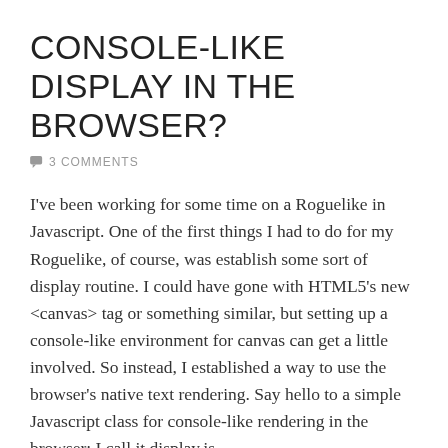CONSOLE-LIKE DISPLAY IN THE BROWSER?
💬 3 COMMENTS
I've been working for some time on a Roguelike in Javascript. One of the first things I had to do for my Roguelike, of course, was establish some sort of display routine. I could have gone with HTML5's new <canvas> tag or something similar, but setting up a console-like environment for canvas can get a little involved. So instead, I established a way to use the browser's native text rendering. Say hello to a simple Javascript class for console-like rendering in the browser: I call it display.js.
So, let's take a look at the code required initialize a basic 80 by 25 console and draw a few characters with the display class… Continue reading →